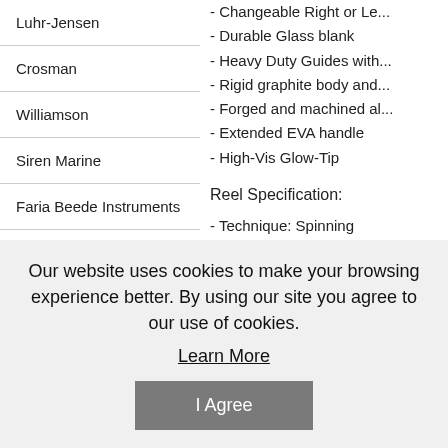Luhr-Jensen
Crosman
Williamson
Siren Marine
Faria Beede Instruments
Plano
Lowrance
- Changeable Right or Le...
- Durable Glass blank
- Heavy Duty Guides with...
- Rigid graphite body and...
- Forged and machined al...
- Extended EVA handle
- High-Vis Glow-Tip
Reel Specification:
- Technique: Spinning
- Reel Size: 60
- Gear Ratio: 4.9:1
- Retrieve Rate: 35"
- Bearings: 5
- Mono Capacity (Yards/lb...
- Anti Reverse: Continuou...
- Reel Handle Position: Ri...
Our website uses cookies to make your browsing experience better. By using our site you agree to our use of cookies.
Learn More
I Agree